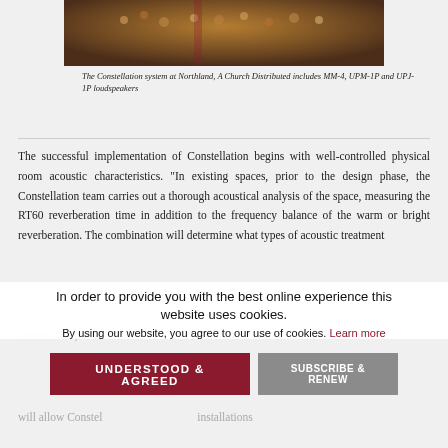[Figure (photo): Aerial/overhead view of a crowded church auditorium with people seated in rows, showing the Constellation system installation at Northland, A Church Distributed.]
The Constellation system at Northland, A Church Distributed includes MM-4, UPM-1P and UPJ-1P loudspeakers
The successful implementation of Constellation begins with well-controlled physical room acoustic characteristics. “In existing spaces, prior to the design phase, the Constellation team carries out a thorough acoustical analysis of the space, measuring the RT60 reverberation time in addition to the frequency balance of the warm or bright reverberation. The combination will determine what types of acoustic treatment
In order to provide you with the best online experience this website uses cookies.
By using our website, you agree to our use of cookies. Learn more
construction, the C… with the architect
will allow Constellation… installations
When Valley Presbyterian Chur…